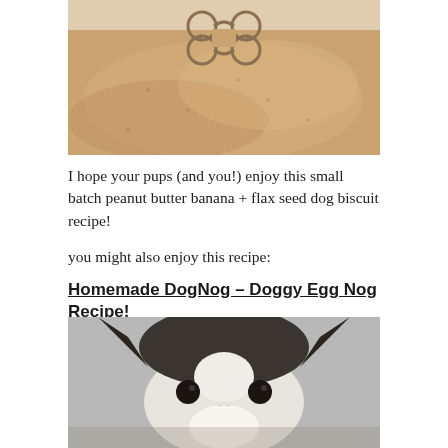[Figure (photo): Photo of peanut butter banana dog biscuit dough rolled out on a surface with a bone-shaped metal cookie cutter placed on top]
I hope your pups (and you!) enjoy this small batch peanut butter banana + flax seed dog biscuit recipe!
you might also enjoy this recipe:
Homemade DogNog – Doggy Egg Nog Recipe!
[Figure (photo): Close-up photo of a Boston Terrier dog's face looking up at the camera]